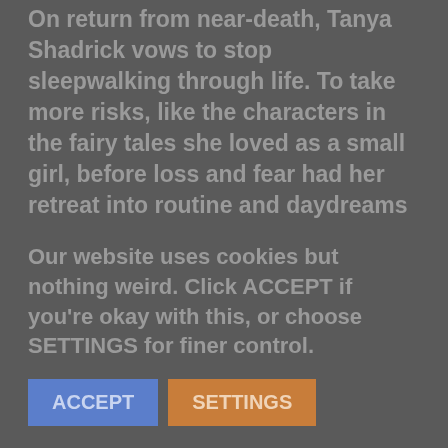On return from near-death, Tanya Shadrick vows to stop sleepwalking through life. To take more risks, like the characters in the fairy tales she loved as a small girl, before loss and fear had her retreat into routine and daydreams
Around the care of young children, she starts to play with the shape and scale of her days: to stray from the path, get lost in the woods, make bargains with strangers
As she moves beyond her respectable roles as worker, wife and mother in a small town, Tanya learns what it
Our website uses cookies but nothing weird. Click ACCEPT if you're okay with this, or choose SETTINGS for finer control.